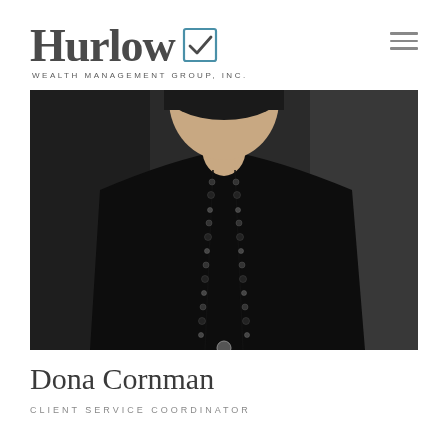[Figure (logo): Hurlow Wealth Management Group, Inc. logo with large serif 'Hurlow' text and a checkbox icon in blue, accompanied by subtitle text 'WEALTH MANAGEMENT GROUP, INC.']
[Figure (photo): Professional headshot photo of Dona Cornman wearing black clothing with a long beaded necklace, dark background]
Dona Cornman
CLIENT SERVICE COORDINATOR